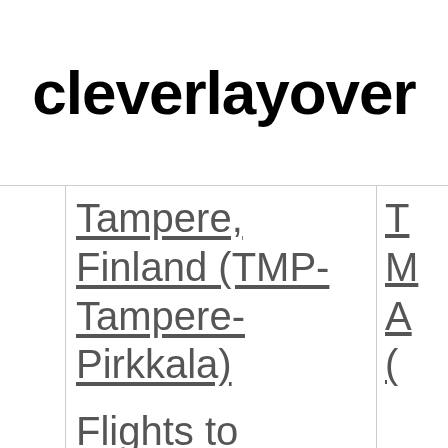cleverlayover
| Tampere, Finland (TMP-Tampere-Pirkkala) | T M A ( |
| Flights to | F A |